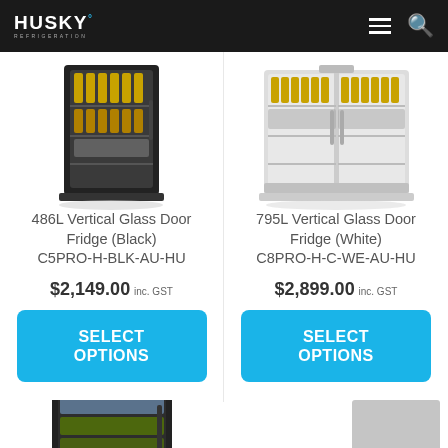HUSKY REFRIGERATION
[Figure (photo): 486L Vertical Glass Door Fridge (Black) product photo]
486L Vertical Glass Door Fridge (Black)
C5PRO-H-BLK-AU-HU
$2,149.00 inc. GST
SELECT OPTIONS
[Figure (photo): 795L Vertical Glass Door Fridge (White) product photo]
795L Vertical Glass Door Fridge (White)
C8PRO-H-C-WE-AU-HU
$2,899.00 inc. GST
SELECT OPTIONS
[Figure (photo): Partial view of a third fridge product at bottom left]
[Figure (photo): Partial gray rectangle at bottom right, partially cut off]